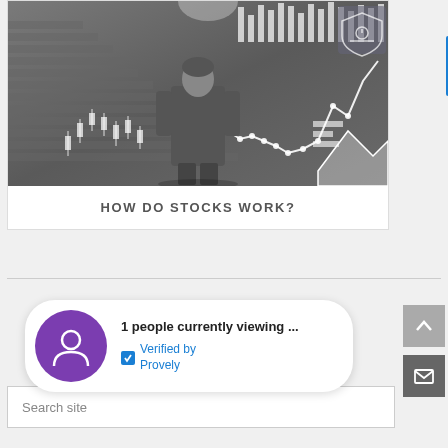[Figure (photo): A businessman in a suit standing with back to viewer, looking at a large financial chart with candlestick patterns and line graphs drawn on a wall. Financial chart icons and bar charts visible in the background.]
HOW DO STOCKS WORK?
1 people currently viewing ...
Verified by Provely
Search site